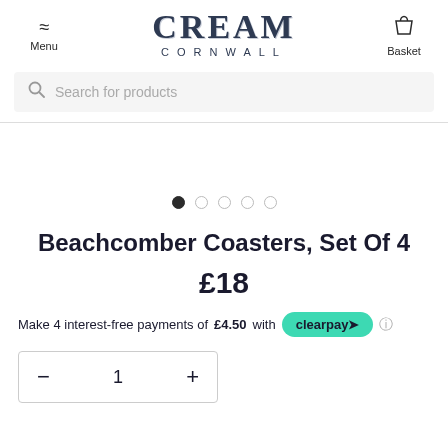Menu | CREAM CORNWALL | Basket
Search for products
[Figure (other): Image carousel dot indicators, 5 dots with first dot filled/active]
Beachcomber Coasters, Set Of 4
£18
Make 4 interest-free payments of £4.50 with clearpay
Quantity selector: − 1 +